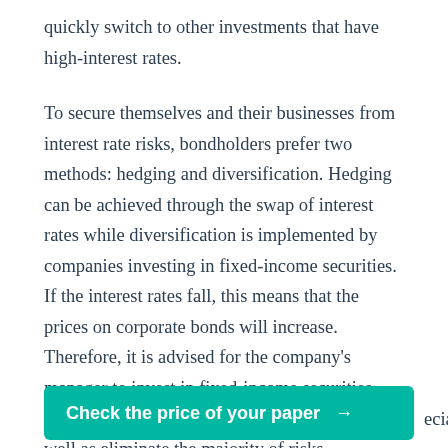quickly switch to other investments that have high-interest rates.
To secure themselves and their businesses from interest rate risks, bondholders prefer two methods: hedging and diversification. Hedging can be achieved through the swap of interest rates while diversification is implemented by companies investing in fixed-income securities. If the interest rates fall, this means that the prices on corporate bonds will increase. Therefore, it is advised for the company's manager to invest in fixed-income securities that will bring the corporation regular income as well as eliminate the majority of risks associated with the fluctuations of the portfolio.
[Figure (other): Teal call-to-action button with text: Check the price of your paper →]
eciate such